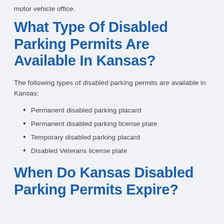motor vehicle office.
What Type Of Disabled Parking Permits Are Available In Kansas?
The following types of disabled parking permits are available in Kansas:
Permanent disabled parking placard
Permanent disabled parking license plate
Temporary disabled parking placard
Disabled Veterans license plate
When Do Kansas Disabled Parking Permits Expire?